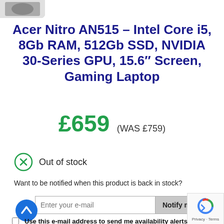[Figure (photo): Partial view of a laptop product image cropped at top-left corner]
Acer Nitro AN515 – Intel Core i5, 8Gb RAM, 512Gb SSD, NVIDIA 30-Series GPU, 15.6″ Screen, Gaming Laptop
£659  (WAS £759)
Out of stock
Want to be notified when this product is back in stock?
Enter your e-mail
Notify me
Use this e-mail address to send me availability alerts